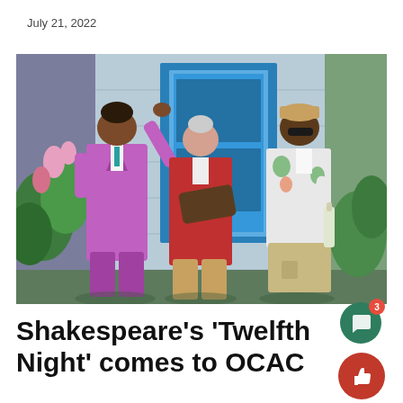July 21, 2022
[Figure (photo): Three actors in colorful costumes stand in front of a blue door set piece. Left: person in bright pink/magenta suit with hand raised. Center: person in red cardigan holding a stringed instrument. Right: person in floral shirt and khaki shorts holding a bottle.]
Shakespeare's 'Twelfth Night' comes to OCAC